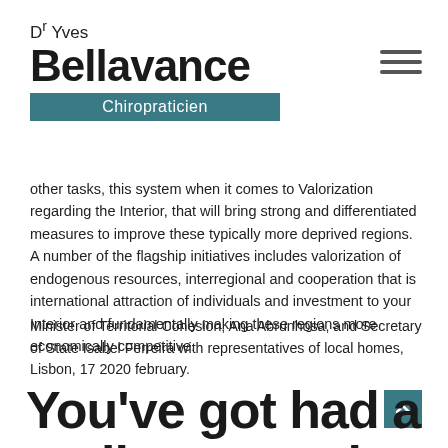[Figure (logo): Dr Yves Bellavance Chiropraticien logo with teal bar]
other tasks, this system when it comes to Valorization regarding the Interior, that will bring strong and differentiated measures to improve these typically more deprived regions. A number of the flagship initiatives includes valorization of endogenous resources, interregional and cooperation that is international attraction of individuals and investment to your Interior and fundamentally making these regions more economically competitive.
Minister of Territorial Cohesion, Ana Abrunhosa, and Secretary of State Isabel Ferreira with representatives of local homes, Lisbon, 17 2020 february.
You’ve got had a really research that is successful